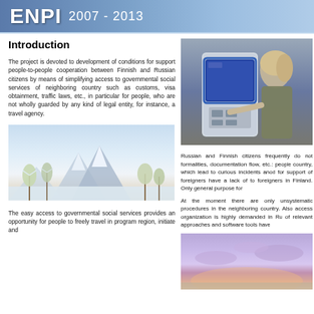ENPI 2007 - 2013
Introduction
The project is devoted to development of conditions for support people-to-people cooperation between Finnish and Russian citizens by means of simplifying access to governmental social services of neighboring country such as customs, visa obtainment, traffic laws, etc., in particular for people, who are not wholly guarded by any kind of legal entity, for instance, a travel agency.
[Figure (photo): Person using a self-service kiosk terminal]
Russian and Finnish citizens frequently do not know the formalities, documentation flow, etc.: people visiting neighboring country, which lead to curious incidents and problems. Services for support of foreigners have a lack of tools to help foreigners in Finland. Only general purpose fo...
[Figure (photo): Winter landscape with snow-covered trees and mountains]
At the moment there are only unsystematic information about procedures in the neighboring country. Also easy governmental access organization is highly demanded in Ru... The lack of relevant approaches and software tools ha...
The easy access to governmental social services provides an opportunity for people to freely travel in program region, initiate and...
[Figure (photo): Sunset sky with purple and pink clouds]